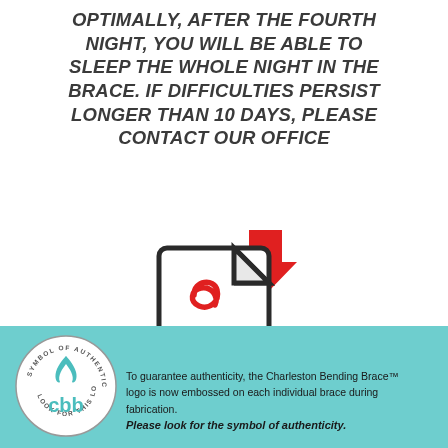OPTIMALLY, AFTER THE FOURTH NIGHT, YOU WILL BE ABLE TO SLEEP THE WHOLE NIGHT IN THE BRACE. IF DIFFICULTIES PERSIST LONGER THAN 10 DAYS, PLEASE CONTACT OUR OFFICE
[Figure (illustration): PDF file icon with a red downward arrow above it, indicating a downloadable PDF document]
Download Instructions For Wear As A PDF
[Figure (logo): Charleston Bending Brace (cbb) circular logo with text 'SYMBOL OF AUTHENTICITY' and 'LOOK FOR THIS LOGO' around the border, with a stylized flame and cbb letters inside]
To guarantee authenticity, the Charleston Bending Brace™ logo is now embossed on each individual brace during fabrication. Please look for the symbol of authenticity.